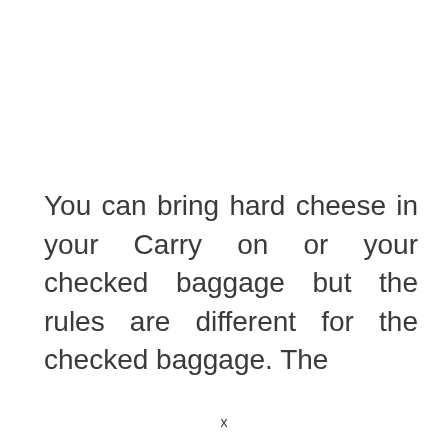You can bring hard cheese in your Carry on or your checked baggage but the rules are different for the checked baggage. The
x